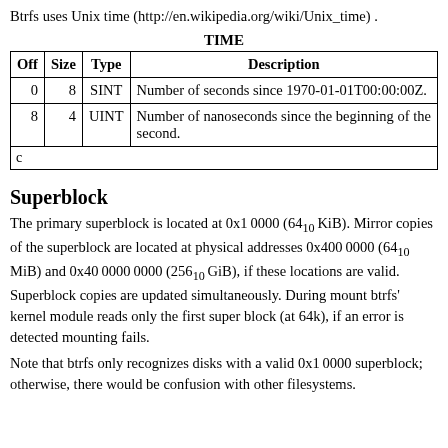Btrfs uses Unix time (http://en.wikipedia.org/wiki/Unix_time) .
TIME
| Off | Size | Type | Description |
| --- | --- | --- | --- |
| 0 | 8 | SINT | Number of seconds since 1970-01-01T00:00:00Z. |
| 8 | 4 | UINT | Number of nanoseconds since the beginning of the second. |
| c |  |  |  |
Superblock
The primary superblock is located at 0x10000 (64₁₀ KiB). Mirror copies of the superblock are located at physical addresses 0x4000000 (64₁₀ MiB) and 0x4000000000 (256₁₀ GiB), if these locations are valid. Superblock copies are updated simultaneously. During mount btrfs' kernel module reads only the first super block (at 64k), if an error is detected mounting fails.
Note that btrfs only recognizes disks with a valid 0x10000 superblock; otherwise, there would be confusion with other filesystems.